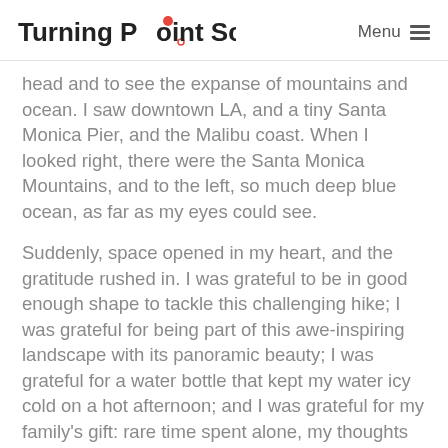Turning Point School  Menu
head and to see the expanse of mountains and ocean. I saw downtown LA, and a tiny Santa Monica Pier, and the Malibu coast. When I looked right, there were the Santa Monica Mountains, and to the left, so much deep blue ocean, as far as my eyes could see.
Suddenly, space opened in my heart, and the gratitude rushed in. I was grateful to be in good enough shape to tackle this challenging hike; I was grateful for being part of this awe-inspiring landscape with its panoramic beauty; I was grateful for a water bottle that kept my water icy cold on a hot afternoon; and I was grateful for my family's gift: rare time spent alone, my thoughts my own, uninterrupted.
I thought of how proud I would feel at the